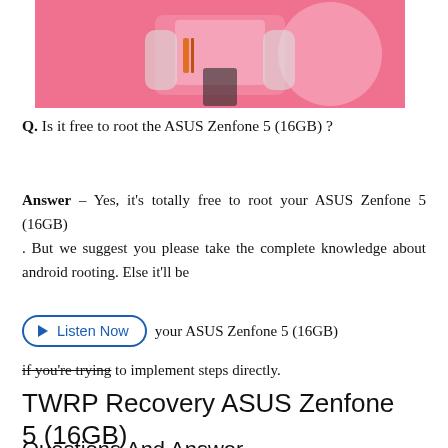[Figure (photo): Pink/coral banner image showing Nintendo Switch gaming console with white Joy-Con controllers and a decorative white circle on pink background]
Q. Is it free to root the ASUS Zenfone 5 (16GB) ?
Answer – Yes, it's totally free to root your ASUS Zenfone 5 (16GB) . But we suggest you please take the complete knowledge about android rooting. Else it'll be [Listen Now button] your ASUS Zenfone 5 (16GB) if you're trying to implement steps directly.
TWRP Recovery ASUS Zenfone 5 (16GB)
Questions And Answer